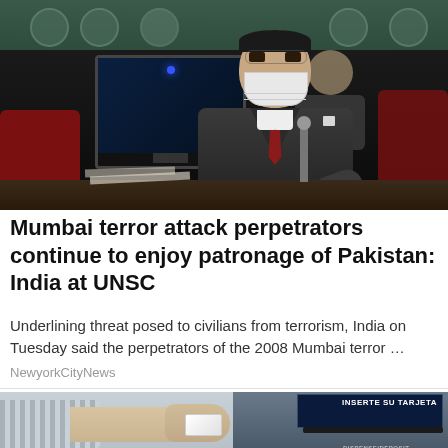[Figure (photo): A man in a dark suit and white face mask sitting at a desk with a computer monitor at what appears to be a UN Security Council meeting]
Mumbai terror attack perpetrators continue to enjoy patronage of Pakistan: India at UNSC
Underlining threat posed to civilians from terrorism, India on Tuesday said the perpetrators of the 2008 Mumbai terror …
NewyorkCityNews
[Figure (photo): A hand inserting a card into an ATM machine. The ATM screen shows text 'INSERTE SU TARJETA' and there is a 'DISPENSE/DEPOSIT' label visible.]